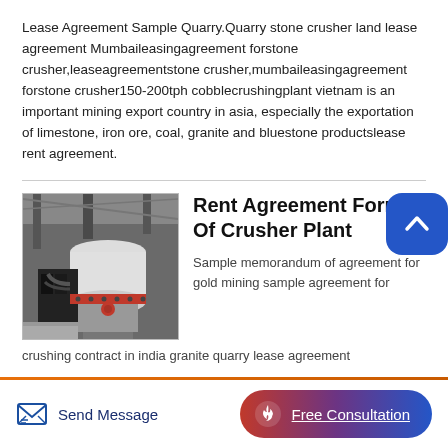Lease Agreement Sample Quarry.Quarry stone crusher land lease agreement Mumbaileasingagreement forstone crusher,leaseagreementstone crusher,mumbaileasingagreement forstone crusher150-200tph cobblecrushingplant vietnam is an important mining export country in asia, especially the exportation of limestone, iron ore, coal, granite and bluestone productslease rent agreement.
[Figure (photo): Industrial cone crusher machine photographed in a factory/warehouse setting, white and red colored crusher unit]
Rent Agreement Format Of Crusher Plant
Sample memorandum of agreement for gold mining sample agreement for crushing contract in india granite quarry lease agreement
Send Message | Free Consultation